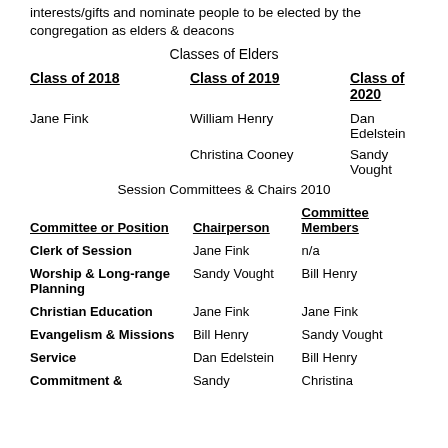interests/gifts and nominate people to be elected by the congregation as elders & deacons
Classes of Elders
| Class of 2018 | Class of 2019 | Class of 2020 |
| --- | --- | --- |
| Jane Fink | William Henry | Dan Edelstein |
|  | Christina Cooney | Sandy Vought |
Session Committees & Chairs 2010
| Committee or Position | Chairperson | Committee Members |
| --- | --- | --- |
| Clerk of Session | Jane Fink | n/a |
| Worship & Long-range Planning | Sandy Vought | Bill Henry |
| Christian Education | Jane Fink | Jane Fink |
| Evangelism & Missions | Bill Henry | Sandy Vought |
| Service | Dan Edelstein | Bill Henry |
| Commitment & | Sandy | Christina |